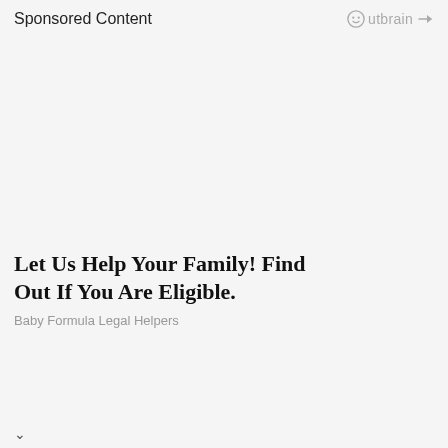Sponsored Content
[Figure (logo): Outbrain logo with smiley face icon and play button arrow]
Let Us Help Your Family! Find Out If You Are Eligible.
Baby Formula Legal Helpers